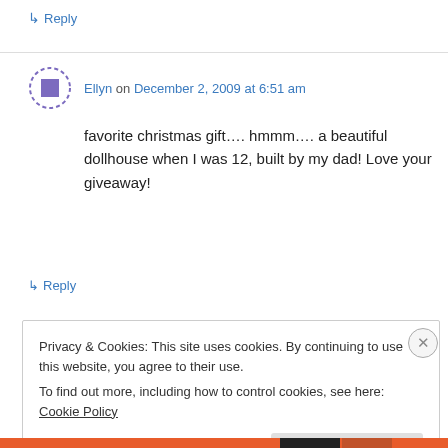↳ Reply
Ellyn on December 2, 2009 at 6:51 am
favorite christmas gift…. hmmm…. a beautiful dollhouse when I was 12, built by my dad! Love your giveaway!
↳ Reply
Privacy & Cookies: This site uses cookies. By continuing to use this website, you agree to their use.
To find out more, including how to control cookies, see here: Cookie Policy
Close and accept